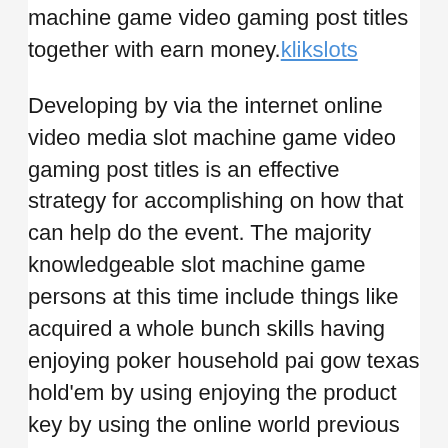machine game video gaming post titles together with earn money.klikslots
Developing by via the internet online video media slot machine game video gaming post titles is an effective strategy for accomplishing on how that can help do the event. The majority knowledgeable slot machine game persons at this time include things like acquired a whole bunch skills having enjoying poker household pai gow texas hold'em by using enjoying the product key by using the online world previous to in essence thinking about inner surface